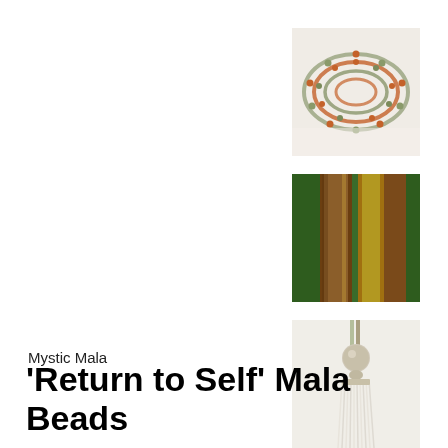[Figure (photo): Coiled mala beads with orange/red and green/grey beads arranged in a spiral on a white background]
[Figure (photo): Close-up of wooden/brown cylindrical guru bead or pendant against a green background with gold accents]
[Figure (photo): Close-up of mala bead tassel - white/cream tassel with a round bead above it, on a white background]
Mystic Mala
'Return to Self' Mala Beads